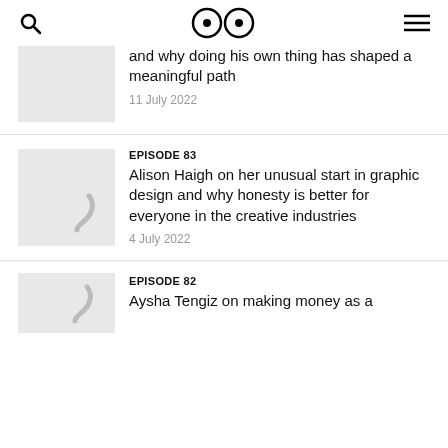Search | Logo | Menu
and why doing his own thing has shaped a meaningful path
11 July 2022
EPISODE 83 — Alison Haigh on her unusual start in graphic design and why honesty is better for everyone in the creative industries
4 July 2022
EPISODE 82 — Aysha Tengiz on making money as a